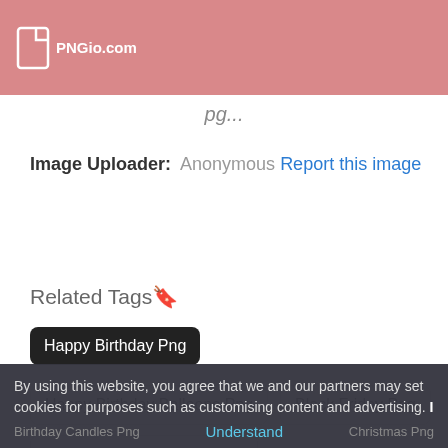PNGio.com
Image Uploader: Anonymous Report this image
Related Tags🔖
Happy Birthday Png
Happy Birthday Balloons Png
Black Friday Png
Happy Birthday Banner Png
Christmas Lights Png
Christmas Ribbon Png
Birthday Candles Png
Christmas Png
By using this website, you agree that we and our partners may set cookies for purposes such as customising content and advertising. I
Understand